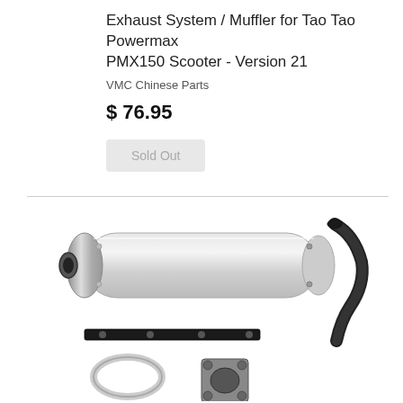Exhaust System / Muffler for Tao Tao Powermax PMX150 Scooter - Version 21
VMC Chinese Parts
$ 76.95
Sold Out
[Figure (photo): Product photo of exhaust system / muffler kit including a large silver cylindrical muffler, a curved black exhaust pipe, a flat black mounting bracket, a metal clamp ring, and a square flange gasket plate.]